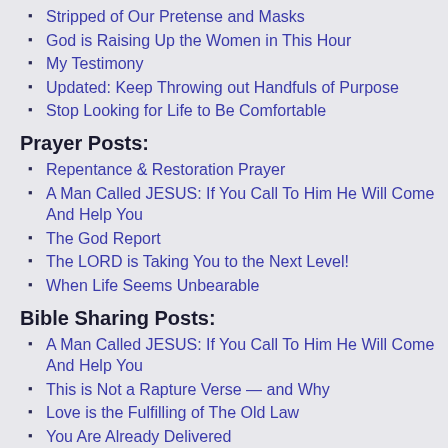Stripped of Our Pretense and Masks
God is Raising Up the Women in This Hour
My Testimony
Updated: Keep Throwing out Handfuls of Purpose
Stop Looking for Life to Be Comfortable
Prayer Posts:
Repentance & Restoration Prayer
A Man Called JESUS: If You Call To Him He Will Come And Help You
The God Report
The LORD is Taking You to the Next Level!
When Life Seems Unbearable
Bible Sharing Posts:
A Man Called JESUS: If You Call To Him He Will Come And Help You
This is Not a Rapture Verse — and Why
Love is the Fulfilling of The Old Law
You Are Already Delivered
Prophetic Message: The Baptism of The Holy Spirit